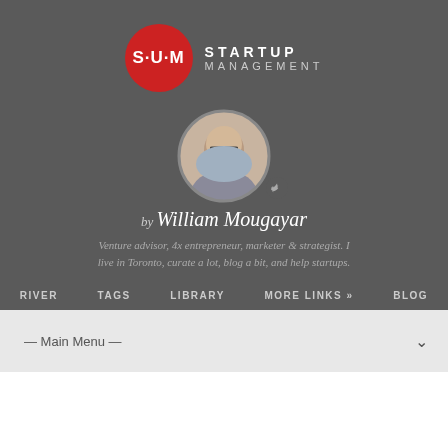[Figure (logo): Startup Management logo with red circle badge 'S-U-M' and text 'STARTUP MANAGEMENT']
[Figure (photo): Circular profile photo of William Mougayar, a bald man with glasses]
by William Mougayar
Venture advisor, 4x entrepreneur, marketer & strategist. I live in Toronto, curate a lot, blog a bit, and help startups.
RIVER   TAGS   LIBRARY   MORE LINKS »   BLOG
— Main Menu —
TAGGED GOVERNANCE